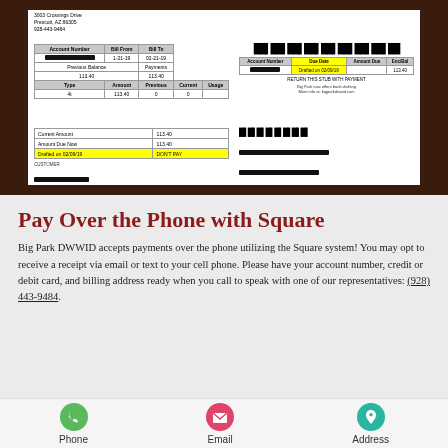[Figure (other): Scanned utility bill from Big Park DWWID showing account number, billing period 1-21-19 to 02-21-19, previous balance 113.40, payments 113.40, current amount 113.40, amount due now 113.40, drafted on 02/09/19, with payment stub and redacted customer/address information.]
Pay Over the Phone with Square
Big Park DWWID accepts payments over the phone utilizing the Square system! You may opt to receive a receipt via email or text to your cell phone. Please have your account number, credit or debit card, and billing address ready when you call to speak with one of our representatives: (928) 443-9484.
[Figure (infographic): Three icons at bottom: Phone (green), Email (pink/red), Address (teal)]